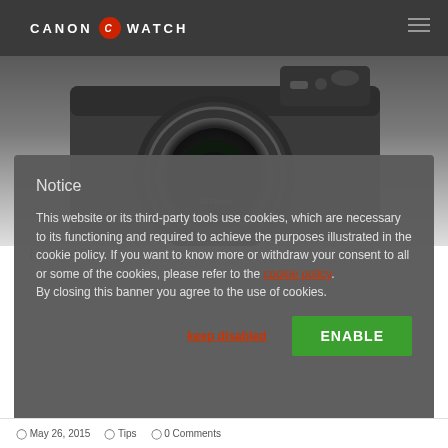CANON WATCH
[Figure (photo): Canon DSLR camera with lens, viewed from front, shown against a dark grey background]
[via BetaPixel]
Notice
This website or its third-party tools use cookies, which are necessary to its functioning and required to achieve the purposes illustrated in the cookie policy. If you want to know more or withdraw your consent to all or some of the cookies, please refer to the cookie policy. By closing this banner you agree to the use of cookies.
keep disabled
ENABLE
May 26, 2015  Tips  0 Comments